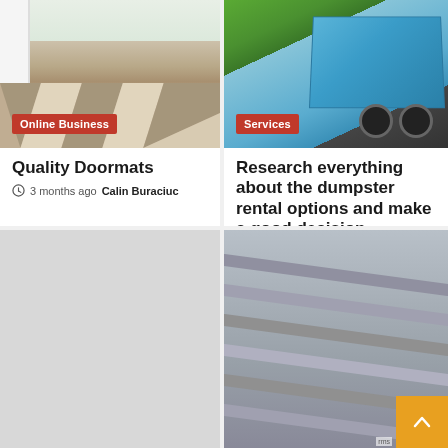[Figure (photo): Doormat with geometric triangle pattern on wooden deck, white door and garden visible in background. Orange 'Online Business' category badge overlay.]
Quality Doormats
3 months ago  Calin Buraciuc
[Figure (photo): Blue dumpster being dropped off a truck, green trees in background. Orange 'Services' category badge overlay.]
Research everything about the dumpster rental options and make a good decision
3 months ago  Calin Buraciuc
[Figure (photo): Partial bottom-left card image, light gray background.]
[Figure (photo): Partial bottom-right card image showing metallic pipes/rods.]